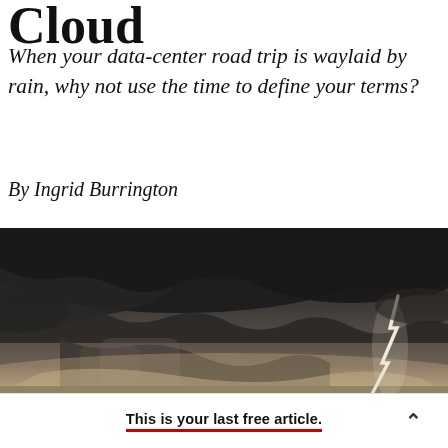Clou…
When your data-center road trip is waylaid by rain, why not use the time to define your terms?
By Ingrid Burrington
[Figure (photo): Wide dramatic landscape photo of a large storm system with dark clouds and a lightning bolt on the right side, over a flat rural landscape.]
This is your last free article.